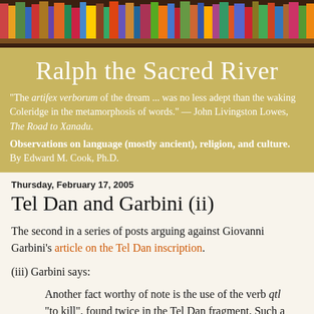[Figure (photo): Header image of colorful book spines on a bookshelf]
Ralph the Sacred River
"The artifex verborum of the dream ... was no less adept than the waking Coleridge in the metamorphosis of words." — John Livingston Lowes, The Road to Xanadu.
Observations on language (mostly ancient), religion, and culture.
By Edward M. Cook, Ph.D.
Thursday, February 17, 2005
Tel Dan and Garbini (ii)
The second in a series of posts arguing against Giovanni Garbini's article on the Tel Dan inscription.
(iii) Garbini says:
Another fact worthy of note is the use of the verb qtl "to kill", found twice in the Tel Dan fragment. Such a